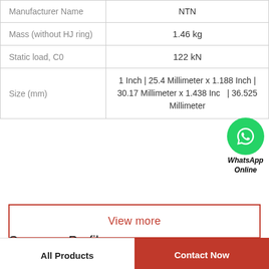| Property | Value |
| --- | --- |
| Manufacturer Name | NTN |
| Mass (without HJ ring) | 1.46 kg |
| Static load, C0 | 122 kN |
| Size (mm) | 1 Inch | 25.4 Millimeter x 1.188 Inch | 30.17 Millimeter x 1.438 Inch | 36.525 Millimeter |
[Figure (logo): WhatsApp Online green circle icon with phone handset, labeled WhatsApp Online]
View more
Company Profile
SKE-SUDAMERICAN S.A
All Products   Contact Now